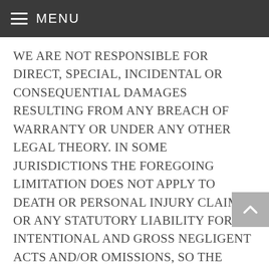MENU
WE ARE NOT RESPONSIBLE FOR DIRECT, SPECIAL, INCIDENTAL OR CONSEQUENTIAL DAMAGES RESULTING FROM ANY BREACH OF WARRANTY OR UNDER ANY OTHER LEGAL THEORY. IN SOME JURISDICTIONS THE FOREGOING LIMITATION DOES NOT APPLY TO DEATH OR PERSONAL INJURY CLAIMS, OR ANY STATUTORY LIABILITY FOR INTENTIONAL AND GROSS NEGLIGENT ACTS AND/OR OMISSIONS, SO THE ABOVE EXCLUSION OR LIMITATION MAY NOT APPLY TO YOU. SOME JURISDICTIONS DO NOT ALLOW THE EXCLUSION OR LIMITATION OF DIRECT, INCIDENTAL OR CONSEQUENTIAL